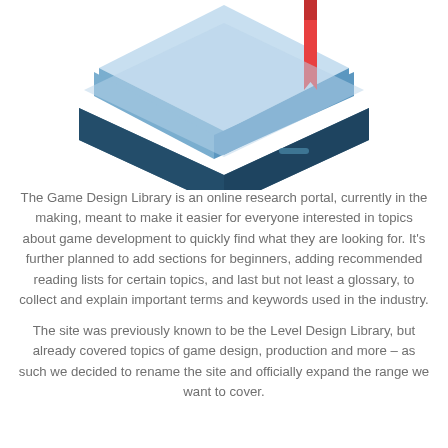[Figure (illustration): Isometric illustration of layered platform/books with a red bookmark, rendered in light blue and steel blue tones, partially cropped at top]
The Game Design Library is an online research portal, currently in the making, meant to make it easier for everyone interested in topics about game development to quickly find what they are looking for. It's further planned to add sections for beginners, adding recommended reading lists for certain topics, and last but not least a glossary, to collect and explain important terms and keywords used in the industry.
The site was previously known to be the Level Design Library, but already covered topics of game design, production and more – as such we decided to rename the site and officially expand the range we want to cover.